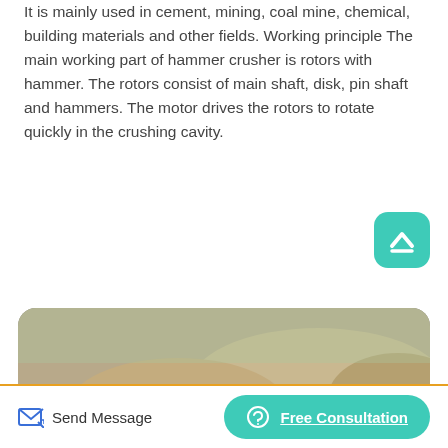It is mainly used in cement, mining, coal mine, chemical, building materials and other fields. Working principle The main working part of hammer crusher is rotors with hammer. The rotors consist of main shaft, disk, pin shaft and hammers. The motor drives the rotors to rotate quickly in the crushing cavity.
[Figure (other): Green Read More button and teal scroll-to-top button with upward chevron]
[Figure (photo): Outdoor industrial mining/crushing site with red heavy machinery and equipment, piles of aggregate/gravel in the background]
Send Message
Free Consultation